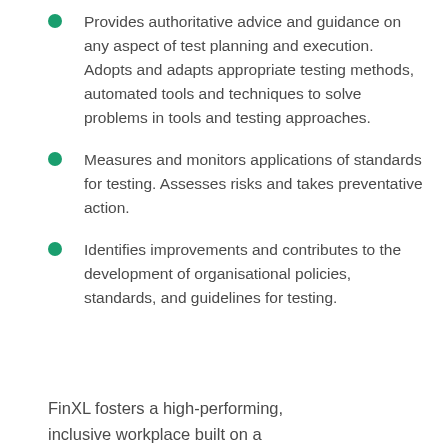Provides authoritative advice and guidance on any aspect of test planning and execution. Adopts and adapts appropriate testing methods, automated tools and techniques to solve problems in tools and testing approaches.
Measures and monitors applications of standards for testing. Assesses risks and takes preventative action.
Identifies improvements and contributes to the development of organisational policies, standards, and guidelines for testing.
FinXL fosters a high-performing, inclusive workplace built on a